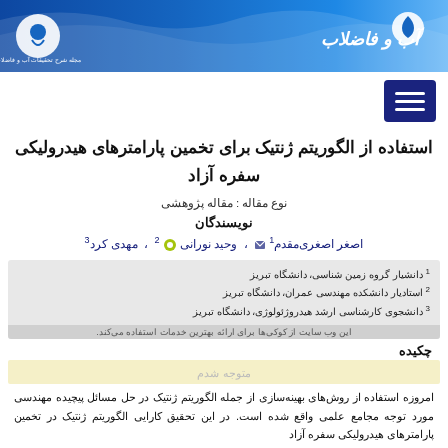[Figure (other): Journal header banner with blue wave design, water droplet logos, and journal name in Persian/Arabic script: آب و فاضلاب]
[Figure (other): Hamburger menu icon (three horizontal lines) on dark navy background]
استفاده از الگوریتم ژنتیک برای تخمین پارامترهای هیدرولیکی سفره آزاد
نوع مقاله : مقاله پژوهشی
نویسندگان
اصغر اصغری‌مقدم 1 ، وحید نورانی 2 ، مهدی کرد 3
1 دانشیار گروه زمین شناسی، دانشگاه تبریز
2 استادیار دانشکده مهندسی عمران، دانشگاه تبریز
3 دانشجوی کارشناسی ارشد هیدروژئولوژی، دانشگاه تبریز
چکیده
امروزه استفاده از روش‌های بهینه‌سازی از جمله الگوریتم ژنتیک در حل مسائل پیچیده مهندسی مورد توجه مجامع علمی واقع شده است. در این تحقیق کارایی الگوریتم ژنتیک در تخمین پارامترهای هیدرولیکی سفره آزاد